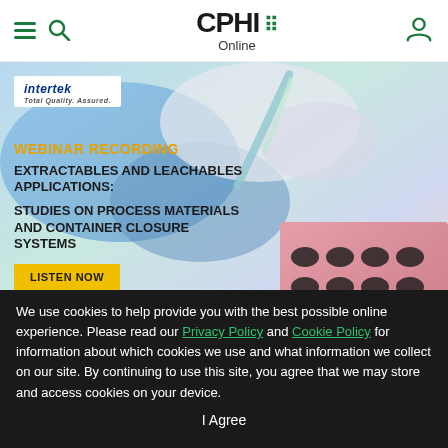CPHI Online
[Figure (photo): Laboratory photo showing gloved hands with pipettes and a multi-well plate, with Intertek branding. Overlay text includes webinar recording title about Extractables and Leachables Applications.]
We use cookies to help provide you with the best possible online experience. Please read our Privacy Policy and Cookie Policy for information about which cookies we use and what information we collect on our site. By continuing to use this site, you agree that we may store and access cookies on your device.
I Agree